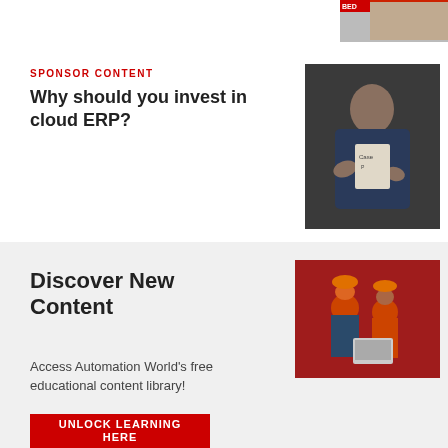[Figure (photo): Partial top image with red banner visible]
SPONSOR CONTENT
Why should you invest in cloud ERP?
[Figure (photo): Business professional man in suit gesturing, with a tablet/book visible in background]
Discover New Content
Access Automation World's free educational content library!
[Figure (photo): Industrial workers wearing orange hard hats in a red-lit factory setting with a laptop]
UNLOCK LEARNING HERE